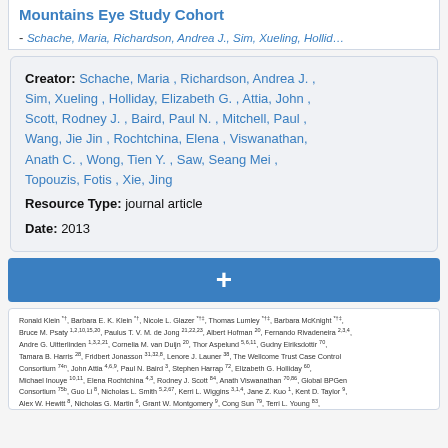Mountains Eye Study Cohort
- Schache, Maria, Richardson, Andrea J., Sim, Xueling, Hollid…
Creator: Schache, Maria , Richardson, Andrea J. , Sim, Xueling , Holliday, Elizabeth G. , Attia, John , Scott, Rodney J. , Baird, Paul N. , Mitchell, Paul , Wang, Jie Jin , Rochtchina, Elena , Viswanathan, Anath C. , Wong, Tien Y. , Saw, Seang Mei , Topouzis, Fotis , Xie, Jing
Resource Type: journal article
Date: 2013
[Figure (other): Blue button with plus symbol]
Ronald Klein, Barbara E. K. Klein, Nicole L. Glazer, Thomas Lumley, Barbara McKnight, Bruce M. Psaty, Paulus T. V. M. de Jong, Albert Hofman, Fernando Rivadeneira, Andre G. Uitterlinden, Cornelia M. van Duijn, Thor Aspelund, Gudny Eiriksdottir, Tamara B. Harris, Fridbert Jonasson, Lenore J. Launer, The Wellcome Trust Case Control Consortium, John Attia, Paul N. Baird, Stephen Harrap, Elizabeth G. Holliday, Michael Inouye, Elena Rochtchina, Rodney J. Scott, Anath Viswanathan, Global BPGen Consortium, Guo Li, Nicholas L. Smith, Kerri L. Wiggins, Jane Z. Kuo, Kent D. Taylor, Alex W. Hewitt, Nicholas G. Martin, Grant W. Montgomery, Cong Sun, Terri L. Young, David A. Mackey, Natalie R. van Zuydam, Alex S. F. Doney, Colin N. A. Palmer, Andrew D. Morris, Jerome I. Rotter, E. Shyong Tai, Vilmundur Gudnason, Johannes R. Vingerling, David S. Siscovick, Jie Jin Wang, Tien Y. Wong